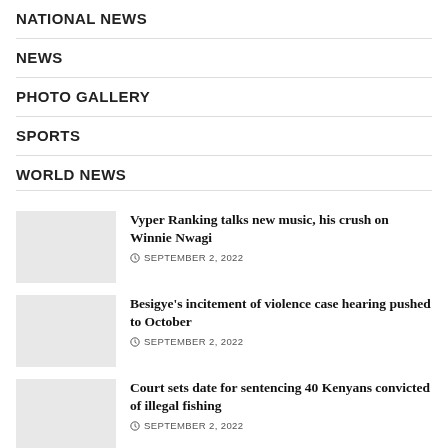NATIONAL NEWS
NEWS
PHOTO GALLERY
SPORTS
WORLD NEWS
[Figure (photo): Thumbnail image placeholder for Vyper Ranking article]
Vyper Ranking talks new music, his crush on Winnie Nwagi
SEPTEMBER 2, 2022
[Figure (photo): Thumbnail image placeholder for Besigye article]
Besigye's incitement of violence case hearing pushed to October
SEPTEMBER 2, 2022
[Figure (photo): Thumbnail image placeholder for Court article]
Court sets date for sentencing 40 Kenyans convicted of illegal fishing
SEPTEMBER 2, 2022